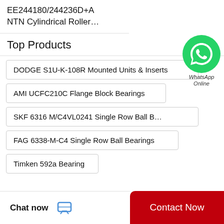EE244180/244236D+A NTN Cylindrical Roller…
Top Products
DODGE S1U-K-108R Mounted Units & Inserts
AMI UCFC210C Flange Block Bearings
SKF 6316 M/C4VL0241 Single Row Ball B…
FAG 6338-M-C4 Single Row Ball Bearings
Timken 592a Bearing
[Figure (logo): WhatsApp contact button with green circle icon and 'WhatsApp Online' label]
Chat now  Contact Now